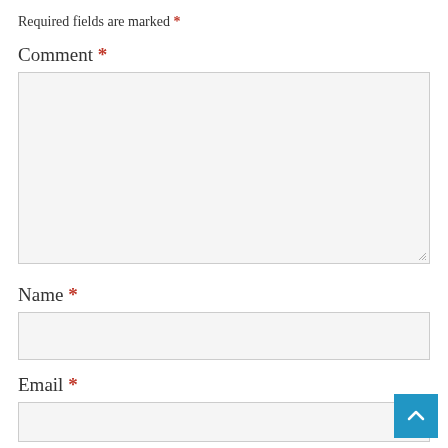Required fields are marked *
Comment *
[Figure (screenshot): Large empty textarea input field with light gray background and resize handle at bottom right]
Name *
[Figure (screenshot): Single-line text input field with light gray background]
Email *
[Figure (screenshot): Single-line email input field with light gray background]
[Figure (screenshot): Blue scroll-to-top button with upward chevron arrow, positioned bottom right]